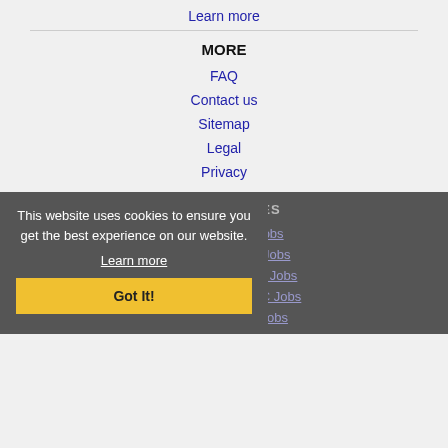Learn more
MORE
FAQ
Contact us
Sitemap
Legal
Privacy
NEARBY CITIES
Charleston, SC Jobs
Goose Creek, SC Jobs
Mount Pleasant, SC Jobs
North Charleston, SC Jobs
Summerville, SC Jobs
This website uses cookies to ensure you get the best experience on our website. Learn more Got It!